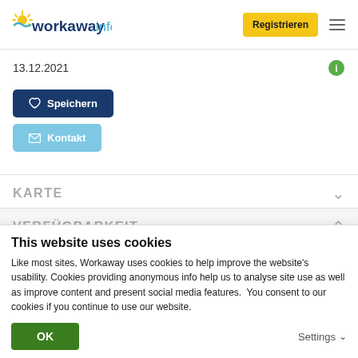[Figure (logo): Workaway.info logo with sun and wave graphic, dark blue and teal coloring]
Registrieren
13.12.2021
♡ Speichern
✉ Kontakt
KARTE
VERFÜGBARKEIT
This website uses cookies
Like most sites, Workaway uses cookies to help improve the website's usability. Cookies providing anonymous info help us to analyse site use as well as improve content and present social media features.  You consent to our cookies if you continue to use our website.
OK
Settings